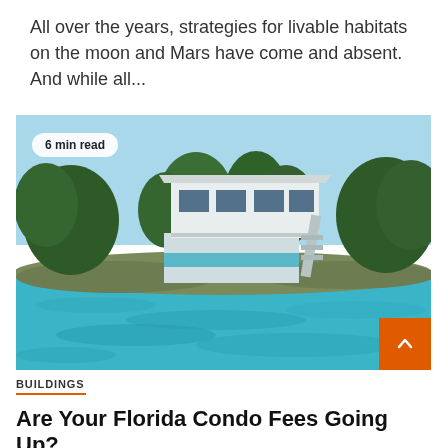All over the years, strategies for livable habitats on the moon and Mars have come and absent. And while all...
[Figure (photo): A two-story stilt house on the waterfront, surrounded by tropical trees, with turquoise water in the foreground. A '6 min read' badge overlays the top-left corner of the image.]
BUILDINGS
Are Your Florida Condo Fees Going Up?